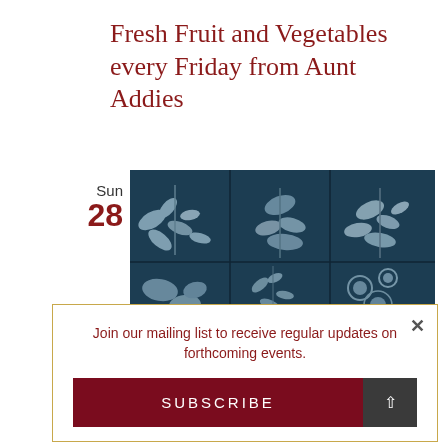Fresh Fruit and Vegetables every Friday from Aunt Addies
Sun
28
[Figure (photo): Cyanotype-style botanical photograph showing a grid of blue-toned plant and leaf impressions on tiles]
Join our mailing list to receive regular updates on forthcoming events.
SUBSCRIBE